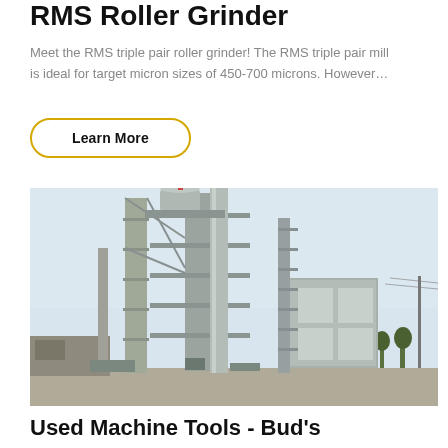RMS Roller Grinder
Meet the RMS triple pair roller grinder! The RMS triple pair mill is ideal for target micron sizes of 450-700 microns. However…
Learn More
[Figure (photo): Large industrial roller grinder / milling plant structure with tall metal framework, silos, pipes, and scaffolding against a light sky background.]
Used Machine Tools - Bud's